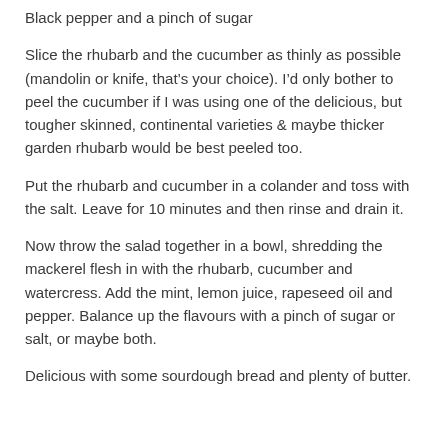Black pepper and a pinch of sugar
Slice the rhubarb and the cucumber as thinly as possible (mandolin or knife, that’s your choice). I’d only bother to peel the cucumber if I was using one of the delicious, but tougher skinned, continental varieties & maybe thicker garden rhubarb would be best peeled too.
Put the rhubarb and cucumber in a colander and toss with the salt. Leave for 10 minutes and then rinse and drain it.
Now throw the salad together in a bowl, shredding the mackerel flesh in with the rhubarb, cucumber and watercress. Add the mint, lemon juice, rapeseed oil and pepper. Balance up the flavours with a pinch of sugar or salt, or maybe both.
Delicious with some sourdough bread and plenty of butter.